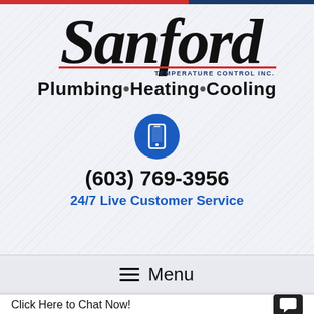[Figure (logo): Sanford Temperature Control Inc. logo with script 'Sanford' text, red underline, 'TEMPERATURE CONTROL INC.' text, and 'Plumbing • Heating • Cooling' tagline]
[Figure (infographic): Blue circle with white smartphone icon]
(603) 769-3956
24/7 Live Customer Service
≡ Menu
Click Here to Chat Now!